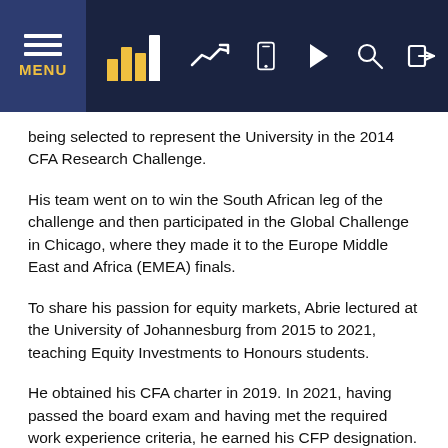MENU [navigation bar with chart, trend, mobile, play, search, login icons]
being selected to represent the University in the 2014 CFA Research Challenge.
His team went on to win the South African leg of the challenge and then participated in the Global Challenge in Chicago, where they made it to the Europe Middle East and Africa (EMEA) finals.
To share his passion for equity markets, Abrie lectured at the University of Johannesburg from 2015 to 2021, teaching Equity Investments to Honours students.
He obtained his CFA charter in 2019. In 2021, having passed the board exam and having met the required work experience criteria, he earned his CFP designation.
Abrie has been with PSG Pretoria East since 2016. He specialises mainly in equity securities, both locally and